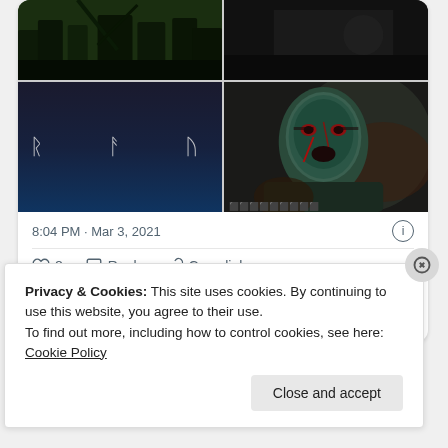[Figure (screenshot): 2x2 grid of movie/TV show images: top-left shows dark forest scene, top-right shows dark scene, bottom-left shows black background with runic letters R A U, bottom-right shows warrior face with blue paint and blood]
8:04 PM · Mar 3, 2021
♡ 8   Reply   Copy link
Explore what's happening on Twitter
Privacy & Cookies: This site uses cookies. By continuing to use this website, you agree to their use.
To find out more, including how to control cookies, see here: Cookie Policy
Close and accept